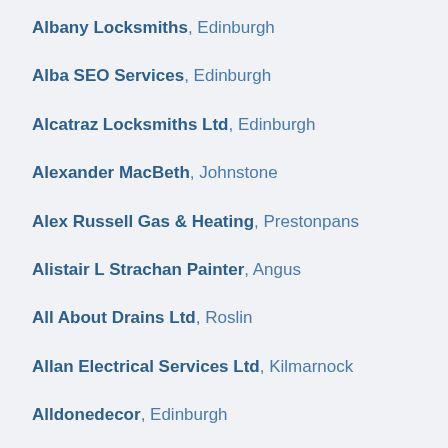Albany Locksmiths, Edinburgh
Alba SEO Services, Edinburgh
Alcatraz Locksmiths Ltd, Edinburgh
Alexander MacBeth, Johnstone
Alex Russell Gas & Heating, Prestonpans
Alistair L Strachan Painter, Angus
All About Drains Ltd, Roslin
Allan Electrical Services Ltd, Kilmarnock
Alldonedecor, Edinburgh